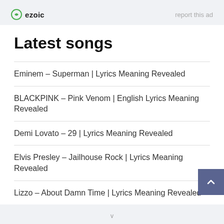[Figure (logo): Ezoic logo with green circular icon and bold 'ezoic' text, with 'report this ad' text on the right]
Latest songs
Eminem – Superman | Lyrics Meaning Revealed
BLACKPINK – Pink Venom | English Lyrics Meaning Revealed
Demi Lovato – 29 | Lyrics Meaning Revealed
Elvis Presley – Jailhouse Rock | Lyrics Meaning Revealed
Lizzo – About Damn Time | Lyrics Meaning Revealed